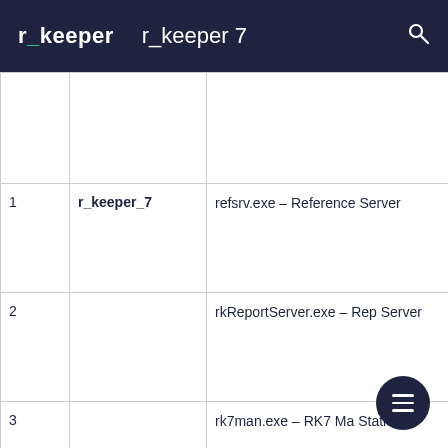r_keeper  r_keeper 7
| # | Name | Description |
| --- | --- | --- |
|  |  |  |
| 1 | r_keeper_7 | refsrv.exe – Reference Server |
| 2 |  | rkReportServer.exe – Rep Server |
| 3 |  | rk7man.exe – RK7 Ma Station |